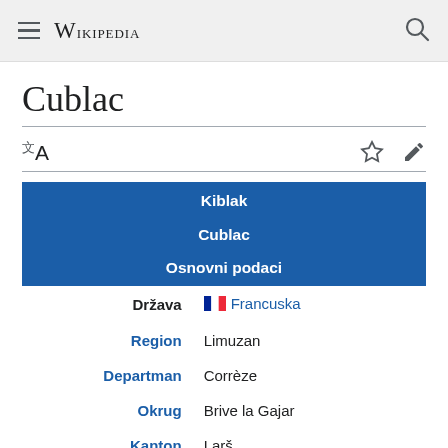Wikipedia
Cublac
| Kiblak | Cublac | Osnovni podaci |  |  |
| --- | --- | --- | --- | --- |
| Država | Francuska |
| Region | Limuzan |
| Departman | Corrèze |
| Okrug | Brive la Gajar |
| Kanton | Larš |
| Stanovništvo |  |